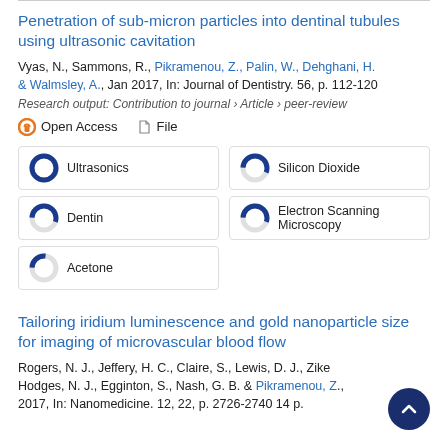Penetration of sub-micron particles into dentinal tubules using ultrasonic cavitation
Vyas, N., Sammons, R., Pikramenou, Z., Palin, W., Dehghani, H. & Walmsley, A., Jan 2017, In: Journal of Dentistry. 56, p. 112-120
Research output: Contribution to journal › Article › peer-review
Open Access   File
Ultrasonics 100% | Silicon Dioxide 56% | Dentin 55% | Electron Scanning Microscopy 55% | Acetone 27%
Tailoring iridium luminescence and gold nanoparticle size for imaging of microvascular blood flow
Rogers, N. J., Jeffery, H. C., Claire, S., Lewis, D. J., Zike... Hodges, N. J., Egginton, S., Nash, G. B. & Pikramenou, Z., 2017, In: Nanomedicine. 12, 22, p. 2726-2740 14 p.